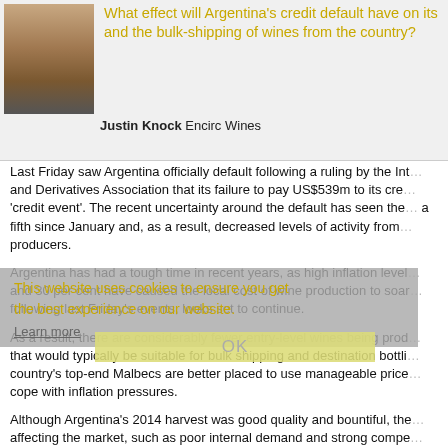What effect will Argentina's credit default have on its and the bulk-shipping of wines from the country?
Justin Knock Encirc Wines
Last Friday saw Argentina officially default following a ruling by the International Swaps and Derivatives Association that its failure to pay US$539m to its creditors constituted a 'credit event'. The recent uncertainty around the default has seen the peso fall by about a fifth since January and, as a result, decreased levels of activity from Argentine wine producers.
Argentina has had a tough time in recent years, as high inflation levels of between 25 and 30 per cent have caused the local cost of wine production to soar, a trend that, following last Friday's events, looks set to continue.
As a result, there are considerably fewer entry-level wines being produced; wines that would typically be suitable for bulk shipping and destination bottling. Instead, the country's top-end Malbecs are better placed to use manageable price increases to cope with inflation pressures.
Although Argentina's 2014 harvest was good quality and bountiful, the other factors affecting the market, such as poor internal demand and strong competition from other new world nations, as well as the default, mean the outlook for Argentine wine producers is uncertain.
Although fewer wines are being produced that may have traditionally been suitable for bulk shipping, an increase in the cost of importing and the subsequent rise in dry goods means we can expect to see more of an interest from Arge...